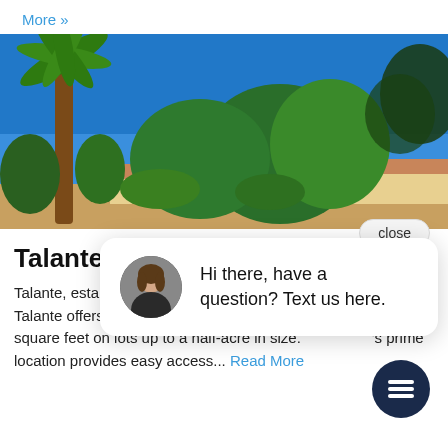More »
[Figure (photo): Outdoor photo showing palm trees and green trees under a bright blue sky, with a yellow/tan house roof visible in the background.]
Talante
Talante, establis homes in South is on Avenue 50 Street. Talante offers homes ranging in size from 3,252 to 3,854 square feet on lots up to a half-acre in size. 's prime location provides easy access... Read More
Hi there, have a question? Text us here.